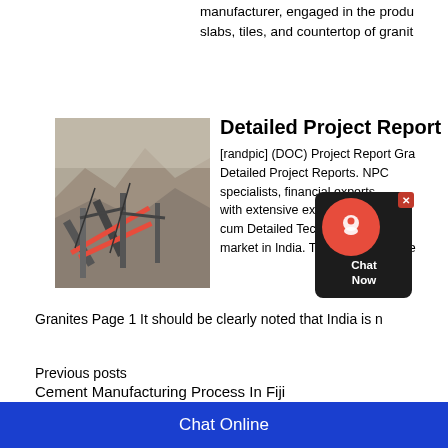manufacturer, engaged in the produ slabs, tiles, and countertop of granit
[Figure (photo): Industrial granite cutting/quarrying machinery on a rocky cliff face with conveyor belts]
Detailed Project Report
[randpic] (DOC) Project Report Gra Detailed Project Reports. NPC specialists, financial experts, with extensive experience in t cum Detailed Techno Econom market in India. The report assesse
Granites Page 1 It should be clearly noted that India is n
Previous posts
Cement Manufacturing Process In Fiji
Next posts
Chat Online